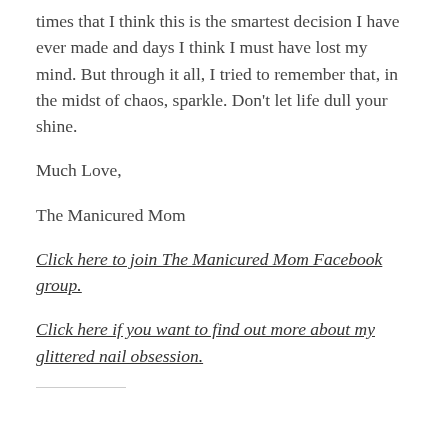times that I think this is the smartest decision I have ever made and days I think I must have lost my mind. But through it all, I tried to remember that, in the midst of chaos, sparkle. Don't let life dull your shine.
Much Love,
The Manicured Mom
Click here to join The Manicured Mom Facebook group.
Click here if you want to find out more about my glittered nail obsession.